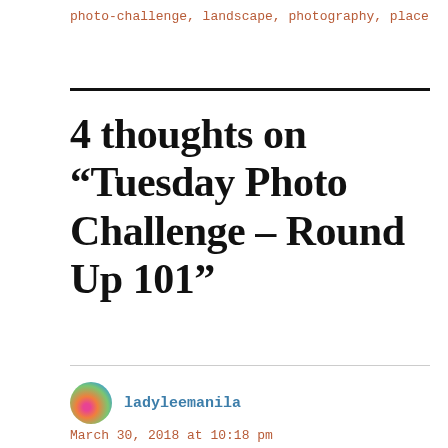photo-challenge, landscape, photography, place
4 thoughts on “Tuesday Photo Challenge – Round Up 101”
ladyleemanila
March 30, 2018 at 10:18 pm
Reblogged this on ladyleemanila and commented: